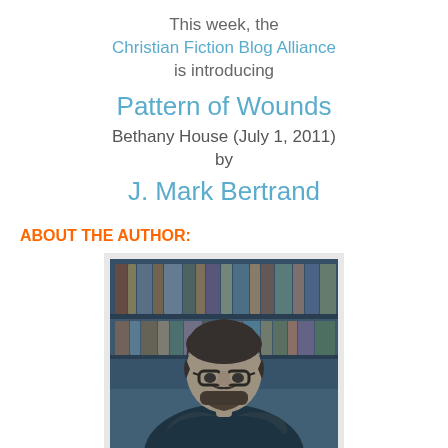This week, the Christian Fiction Blog Alliance is introducing Pattern of Wounds Bethany House (July 1, 2011) by J. Mark Bertrand
ABOUT THE AUTHOR:
[Figure (photo): A man with glasses and a beard sitting with arms crossed in front of a bookshelf, with a blue-tinted color treatment]